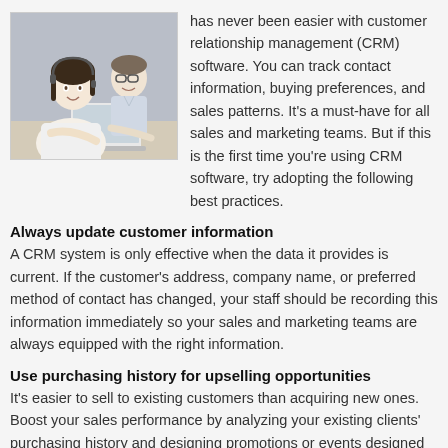[Figure (photo): Two people, a woman in the foreground and a man behind her, smiling and working at a laptop in an office setting]
has never been easier with customer relationship management (CRM) software. You can track contact information, buying preferences, and sales patterns. It's a must-have for all sales and marketing teams. But if this is the first time you're using CRM software, try adopting the following best practices.
Always update customer information
A CRM system is only effective when the data it provides is current. If the customer's address, company name, or preferred method of contact has changed, your staff should be recording this information immediately so your sales and marketing teams are always equipped with the right information.
Use purchasing history for upselling opportunities
It's easier to sell to existing customers than acquiring new ones. Boost your sales performance by analyzing your existing clients' purchasing history and designing promotions or events designed just for them. For example, if they recently purchased a razor from your online store, you can program your CRM to recommend related